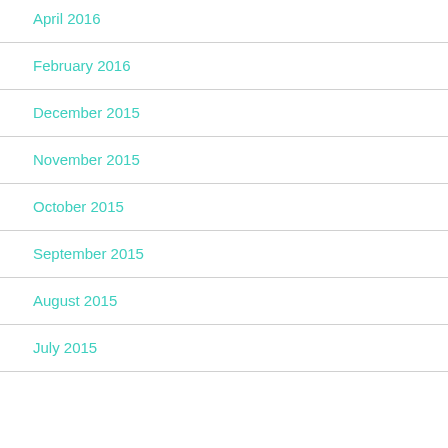April 2016
February 2016
December 2015
November 2015
October 2015
September 2015
August 2015
July 2015